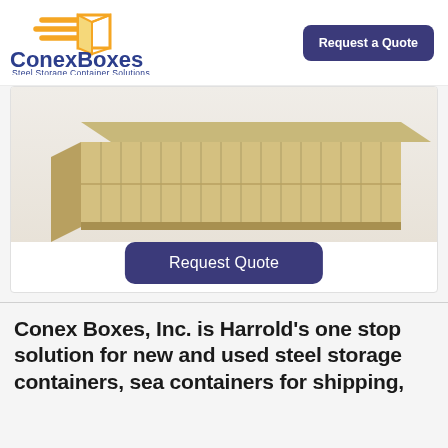[Figure (logo): ConexBoxes logo with orange/yellow arrows and 3D box icon, company name in navy blue, subtitle 'Steel Storage Container Solutions']
Request a Quote
[Figure (photo): Photo of a tan/beige corrugated steel shipping container viewed from a slight angle showing the top and side]
Request Quote
Conex Boxes, Inc. is Harrold's one stop solution for new and used steel storage containers, sea containers for shipping,